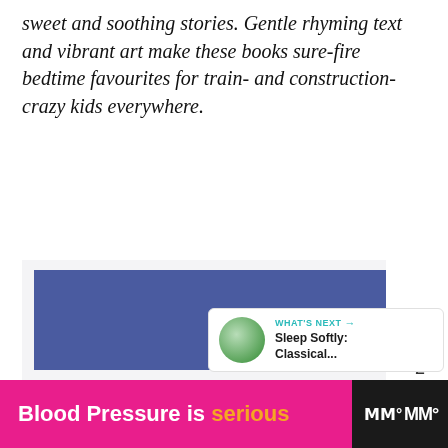sweet and soothing stories. Gentle rhyming text and vibrant art make these books sure-fire bedtime favourites for train- and construction-crazy kids everywhere.
[Figure (other): A blue rectangular banner/advertisement image placeholder embedded in a white content area, with a teal heart-like button (count: 2) and a share button in the right sidebar, and a 'What's Next' panel showing 'Sleep Softly: Classical...' with a circular thumbnail.]
WHAT'S NEXT → Sleep Softly: Classical...
2
Blood Pressure is serious